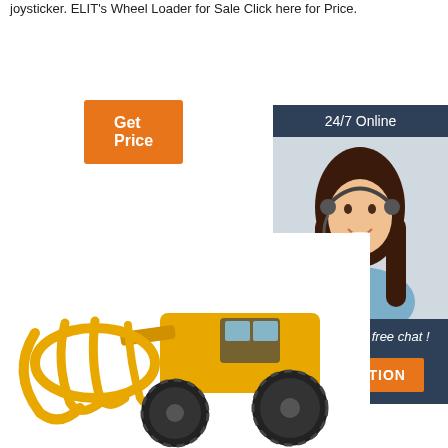joysticker. ELIT's Wheel Loader for Sale Click here for Price.
[Figure (other): Orange 'Get Price' button]
[Figure (other): 24/7 Online chat widget with customer service representative photo, 'Click here for free chat!' text, and orange QUOTATION button on dark blue background]
[Figure (photo): Yellow wheel loader with grapple/claw attachment on white background]